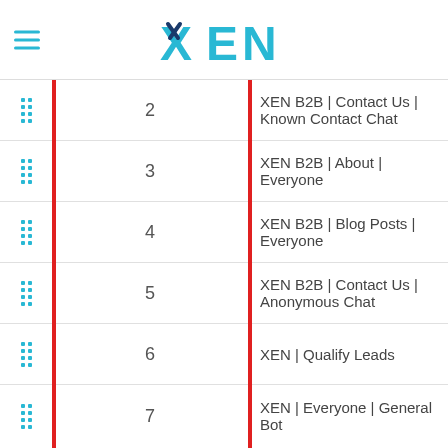[Figure (logo): XEN logo with cyan/teal color and checkmark on X, plus hamburger menu icon]
2  XEN B2B | Contact Us | Known Contact Chat
3  XEN B2B | About | Everyone
4  XEN B2B | Blog Posts | Everyone
5  XEN B2B | Contact Us | Anonymous Chat
6  XEN | Qualify Leads
7  XEN | Everyone | General Bot